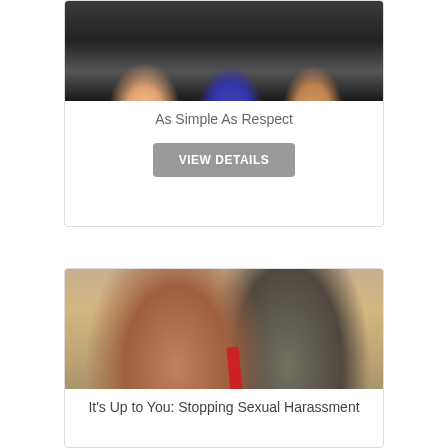[Figure (photo): Three people standing in an office or workplace setting, partially cropped at bottom of view]
As Simple As Respect
VIEW DETAILS
[Figure (photo): Two people facing each other in conversation: a woman with reddish-brown hair wearing a green outfit with pearls, and a man in a dark suit with a red tie, with a plant visible between them]
It's Up to You: Stopping Sexual Harassment